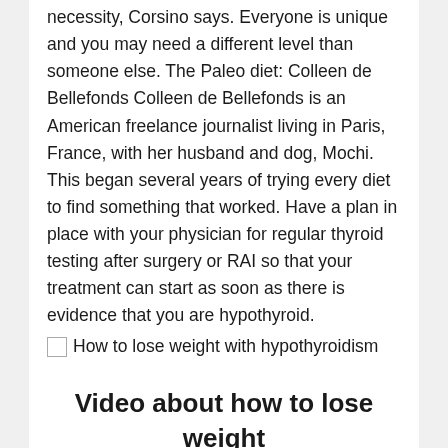necessity, Corsino says. Everyone is unique and you may need a different level than someone else. The Paleo diet: Colleen de Bellefonds Colleen de Bellefonds is an American freelance journalist living in Paris, France, with her husband and dog, Mochi. This began several years of trying every diet to find something that worked. Have a plan in place with your physician for regular thyroid testing after surgery or RAI so that your treatment can start as soon as there is evidence that you are hypothyroid.
[Figure (photo): Broken image placeholder with alt text: How to lose weight with hypothyroidism]
Video about how to lose weight with hypothyroidism: